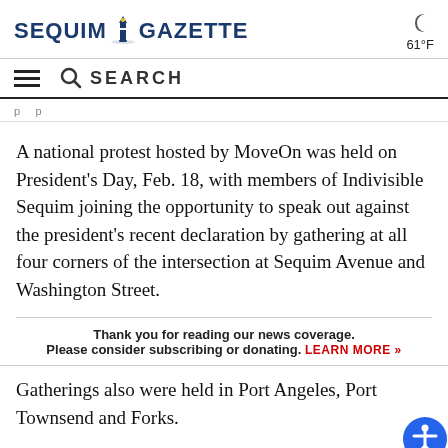SEQUIM GAZETTE   61°F
SEARCH
A national protest hosted by MoveOn was held on President's Day, Feb. 18, with members of Indivisible Sequim joining the opportunity to speak out against the president's recent declaration by gathering at all four corners of the intersection at Sequim Avenue and Washington Street.
Thank you for reading our news coverage. Please consider subscribing or donating. LEARN MORE »
Gatherings also were held in Port Angeles, Port Townsend and Forks.